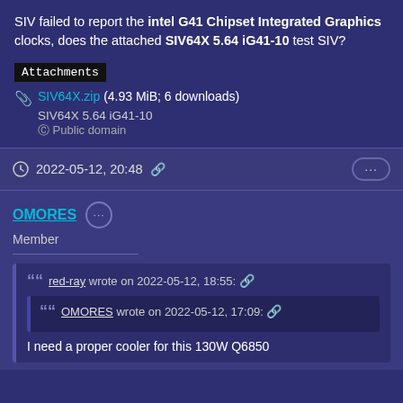SIV failed to report the intel G41 Chipset Integrated Graphics clocks, does the attached SIV64X 5.64 iG41-10 test SIV?
Attachments
SIV64X.zip (4.93 MiB; 6 downloads)
SIV64X 5.64 iG41-10
© Public domain
2022-05-12, 20:48
OMORES Member
red-ray wrote on 2022-05-12, 18:55:
OMORES wrote on 2022-05-12, 17:09:
I need a proper cooler for this 130W Q6850